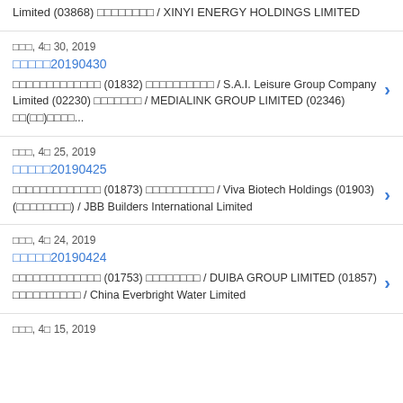Limited (03868) □□□□□□□□ / XINYI ENERGY HOLDINGS LIMITED
□□□, 4□ 30, 2019
□□□□□20190430
□□□□□□□□□□□□□ (01832) □□□□□□□□□□ / S.A.I. Leisure Group Company Limited (02230) □□□□□□□ / MEDIALINK GROUP LIMITED (02346) □□(□□)□□□□...
□□□, 4□ 25, 2019
□□□□□20190425
□□□□□□□□□□□□□ (01873) □□□□□□□□□□ / Viva Biotech Holdings (01903) (□□□□□□□□) / JBB Builders International Limited
□□□, 4□ 24, 2019
□□□□□20190424
□□□□□□□□□□□□□ (01753) □□□□□□□□ / DUIBA GROUP LIMITED (01857) □□□□□□□□□□ / China Everbright Water Limited
□□□, 4□ 15, 2019